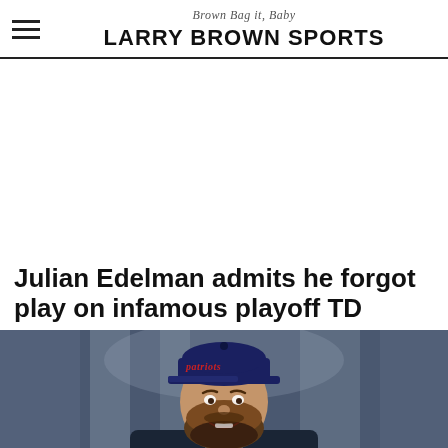Brown Bag it, Baby — LARRY BROWN SPORTS
[Figure (other): White advertisement space placeholder]
Julian Edelman admits he forgot play on infamous playoff TD
[Figure (photo): Photo of Julian Edelman wearing a Patriots cap and beard, smiling, with blurred stadium background]